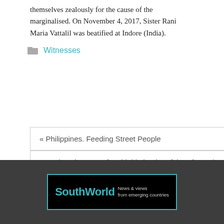themselves zealously for the cause of the marginalised. On November 4, 2017, Sister Rani Maria Vattalil was beatified at Indore (India).
Witnesses
« Philippines. Feeding Street People
Francia Márquez. A formidable leader of the Afro-Colombian community. »
[Figure (logo): SouthWorld logo — 'SouthWorld' in teal bold font on black background with teal border, tagline 'News & views from emerging countries' in grey]